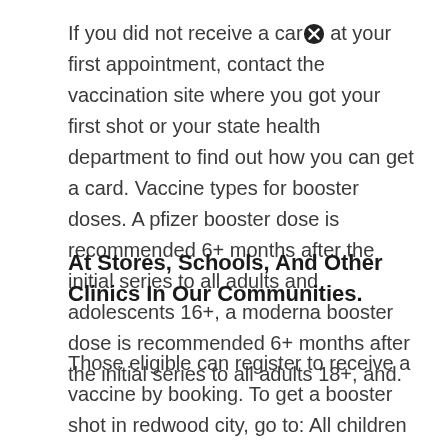If you did not receive a card at your first appointment, contact the vaccination site where you got your first shot or your state health department to find out how you can get a card. Vaccine types for booster doses. A pfizer booster dose is recommended 6+ months after the initial series to all adults and adolescents 16+, a moderna booster dose is recommended 6+ months after the initial series to all adults 18+, and.
At Stores, Schools, And Other Clinics In Our Communities.
Those eligible can register to receive a vaccine by booking. To get a booster shot in redwood city, go to: All children and adolescents should get the first dose at age 11 or 12 years and second dose at age 16